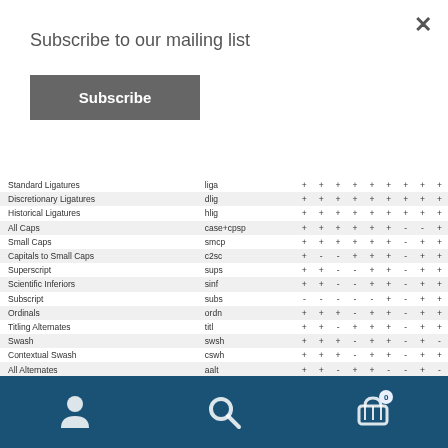Subscribe to our mailing list
Subscribe (button)
| Feature | Tag | col1 | col2 | col3 | col4 | col5 | col6 | col7 | col8 | col9 |
| --- | --- | --- | --- | --- | --- | --- | --- | --- | --- | --- |
| Standard Ligatures | liga | + | + | + | + | + | + | + | + | + |
| Discretionary Ligatures | dlig | + | + | + | + | + | + | + | + | + |
| Historical Ligatures | hlig | + | + | + | + | + | + | + | + | + |
| All Caps | case+cpsp | + | + | + | + | + | + | - | - | + |
| Small Caps | smcp | + | + | + | + | + | + | - | + | + |
| Capitals to Small Caps | c2sc | + | - | - | + | + | + | - | + | + |
| Superscript | sups | + | + | - | - | + | + | - | + | + |
| Scientific Inferiors | sinf | + | + | - | - | + | + | - | + | + |
| Subscript | subs | - | - | - | - | - | + | - | + | + |
| Ordinals | ordn | + | + | + | - | + | + | - | + | + |
| Titling Alternates | titl | + | + | - | + | + | + | - | + | + |
| Swash | swsh | + | + | + | - | + | + | - | + | - |
| Contextual Swash | cswh | + | + | + | - | + | + | - | + | + |
| All Alternates | aalt | + | + | - | + | + | - | - | + | - |
| Contextual Alternates | calt | + | + | + | + | + | + | + | + | + |
| Contextual Ligatures | clig | + | + | + | + | + | + | + | + | + |
| Fractions | frac | + | + | + | - | + | + | - | + | + |
| Alternative Fractions | afrc | - | - | - | - | - | - | - | + | + |
| Numerator | numr | + | + | - | - | + | - | - | + | + |
| Denominator | dnom | + | + | - | - | + | - | - | + | + |
| Ornaments | ornm | - | - | + | - | + | - | - | + | - |
| Stylistic Alternates | salt | - | + | - | - | + | - | - | + | + |
| Stylistic Sets | ss01...ss20 | + | - | - | - | + | + | + | - | + |
| Historical Forms | hist | + | - | - | - | + | + | - | + | + |